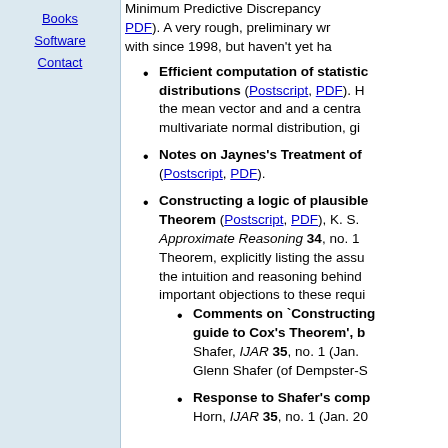Books
Software
Contact
Minimum Predictive Discrepancy (PDF). A very rough, preliminary wr with since 1998, but haven't yet ha
Efficient computation of statistic distributions (Postscript, PDF). H the mean vector and and a centra multivariate normal distribution, gi
Notes on Jaynes's Treatment of (Postscript, PDF).
Constructing a logic of plausible Theorem (Postscript, PDF), K. S. Approximate Reasoning 34, no. 1 Theorem, explicitly listing the asu the intuition and reasoning behind important objections to these requi
Comments on `Constructing guide to Cox's Theorem', b Shafer, IJAR 35, no. 1 (Jan. Glenn Shafer (of Dempster-S
Response to Shafer's comp Horn, IJAR 35, no. 1 (Jan. 20